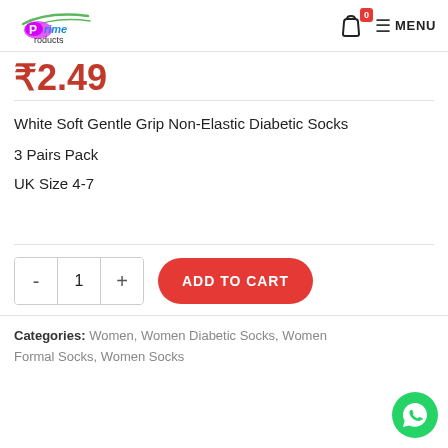Prime Products — MENU
₹2.49
White Soft Gentle Grip Non-Elastic Diabetic Socks
3 Pairs Pack
UK Size 4-7
- 1 + ADD TO CART
Categories: Women, Women Diabetic Socks, Women Formal Socks, Women Socks
[Figure (logo): WhatsApp green circle button with phone icon]